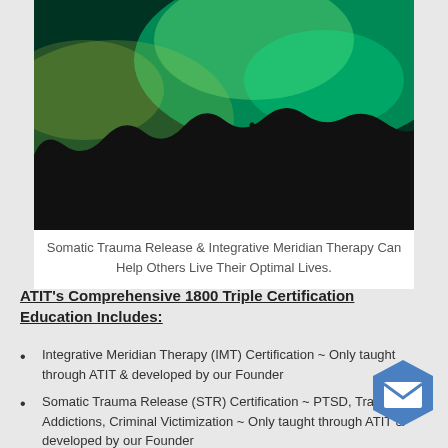[Figure (photo): A silhouette of a person standing on a rock formation with arms raised against a vivid green and teal aurora borealis / night sky background.]
Somatic Trauma Release & Integrative Meridian Therapy Can Help Others Live Their Optimal Lives.
ATIT's Comprehensive 1800 Triple Certification Education Includes:
Integrative Meridian Therapy (IMT) Certification ~ Only taught through ATIT & developed by our Founder
Somatic Trauma Release (STR) Certification ~ PTSD, Trauma, Addictions, Criminal Victimization ~ Only taught through ATIT & developed by our Founder